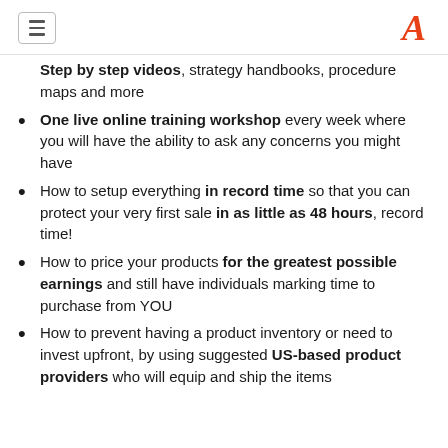[hamburger menu icon] [A logo]
Step by step videos, strategy handbooks, procedure maps and more
One live online training workshop every week where you will have the ability to ask any concerns you might have
How to setup everything in record time so that you can protect your very first sale in as little as 48 hours, record time!
How to price your products for the greatest possible earnings and still have individuals marking time to purchase from YOU
How to prevent having a product inventory or need to invest upfront, by using suggested US-based product providers who will equip and ship the items for YOU